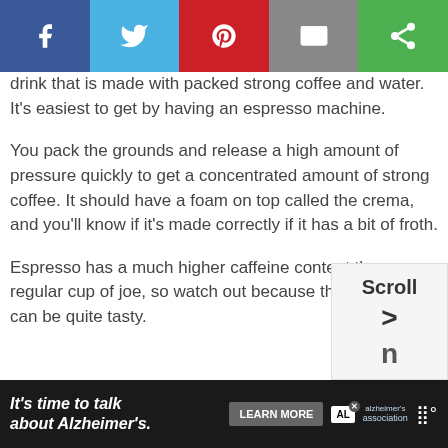[Figure (other): Social media share bar with Facebook (blue), Twitter (light blue), Pinterest (red), Email (gray), and a green share icon button]
drink that is made with packed strong coffee and water. It’s easiest to get by having an espresso machine.
You pack the grounds and release a high amount of pressure quickly to get a concentrated amount of strong coffee. It should have a foam on top called the crema, and you’ll know if it’s made correctly if it has a bit of froth.
Espresso has a much higher caffeine content than a regular cup of joe, so watch out because this cocktail can be quite tasty.
[Figure (other): Scroll widget showing 'Scroll' text partially visible]
[Figure (other): Advertisement banner: 'It’s time to talk about Alzheimer’s.' with LEARN MORE button and Alzheimer's Association logo]